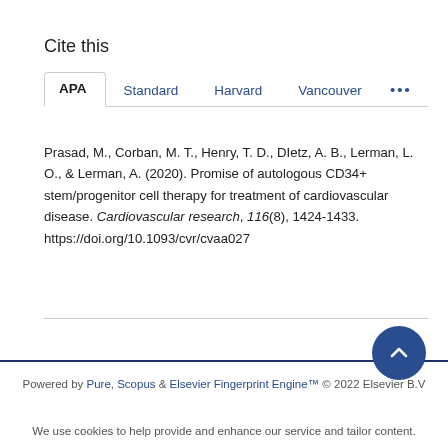Cite this
APA  Standard  Harvard  Vancouver  ...
Prasad, M., Corban, M. T., Henry, T. D., DIetz, A. B., Lerman, L. O., & Lerman, A. (2020). Promise of autologous CD34+ stem/progenitor cell therapy for treatment of cardiovascular disease. Cardiovascular research, 116(8), 1424-1433. https://doi.org/10.1093/cvr/cvaa027
Powered by Pure, Scopus & Elsevier Fingerprint Engine™ © 2022 Elsevier B.V
We use cookies to help provide and enhance our service and tailor content.